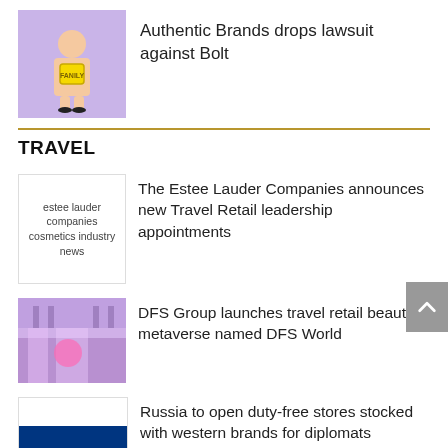[Figure (photo): Thumbnail image with purple background showing a person holding a yellow bag]
Authentic Brands drops lawsuit against Bolt
TRAVEL
[Figure (photo): Estee Lauder Companies cosmetics industry news thumbnail]
The Estee Lauder Companies announces new Travel Retail leadership appointments
[Figure (photo): DFS Group store interior thumbnail]
DFS Group launches travel retail beauty metaverse named DFS World
[Figure (photo): Russian flag thumbnail]
Russia to open duty-free stores stocked with western brands for diplomats
[Figure (logo): Coty logo thumbnail]
Coty forms strategic partnership to support digital platforms such as Alipay in travel retail